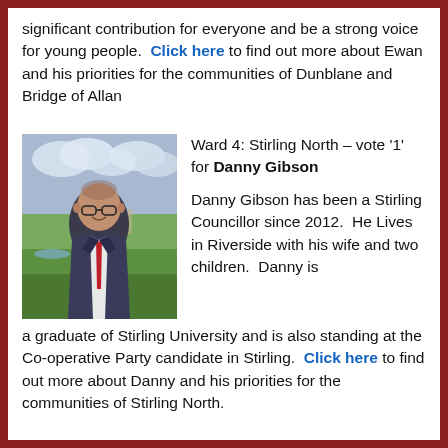significant contribution for everyone and be a strong voice for young people. Click here to find out more about Ewan and his priorities for the communities of Dunblane and Bridge of Allan
[Figure (photo): Man in suit and red tie standing outdoors with a landscape (fields, river, town) visible in the background under a cloudy sky.]
Ward 4: Stirling North – vote '1' for Danny Gibson

Danny Gibson has been a Stirling Councillor since 2012.  He Lives in Riverside with his wife and two children.  Danny is a graduate of Stirling University and is also standing at the Co-operative Party candidate in Stirling.  Click here to find out more about Danny and his priorities for the communities of Stirling North.